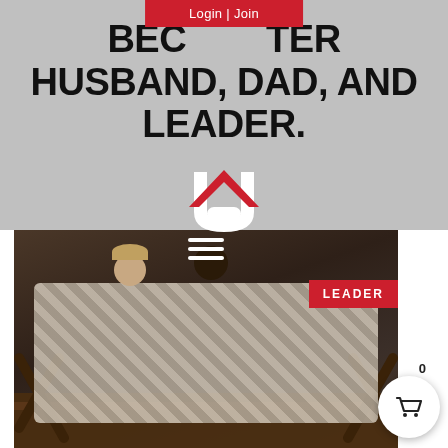Login | Join
BECOME A BETTER HUSBAND, DAD, AND LEADER.
[Figure (logo): Red and white house/arrow logo icon with magnet shape]
[Figure (photo): Couple wrapped in a plaid blanket sitting on a wooden bench in a dark barn setting, smiling and close together. A hamburger menu icon appears at top center, a red LEADER badge at top right, and a shopping cart button at bottom right showing count 0.]